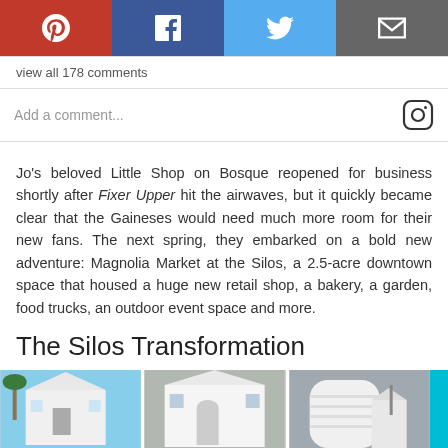[Figure (infographic): Social share bar with Pinterest (red), Facebook (blue), Twitter (light blue), and Email (gray) buttons with white icons]
view all 178 comments
Add a comment...
Jo's beloved Little Shop on Bosque reopened for business shortly after Fixer Upper hit the airwaves, but it quickly became clear that the Gaineses would need much more room for their new fans. The next spring, they embarked on a bold new adventure: Magnolia Market at the Silos, a 2.5-acre downtown space that housed a huge new retail shop, a bakery, a garden, food trucks, an outdoor event space and more.
The Silos Transformation
[Figure (photo): Three photos of the Silos buildings (white structures) in a horizontal strip, partially visible at bottom of page, with a teal sliver on the far right]